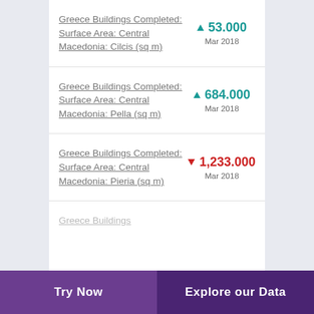Greece Buildings Completed: Surface Area: Central Macedonia: Cilcis (sq m) — 53.000, Mar 2018
Greece Buildings Completed: Surface Area: Central Macedonia: Pella (sq m) — 684.000, Mar 2018
Greece Buildings Completed: Surface Area: Central Macedonia: Pieria (sq m) — 1,233.000, Mar 2018
Greece Buildings...
Try Now | Explore our Data